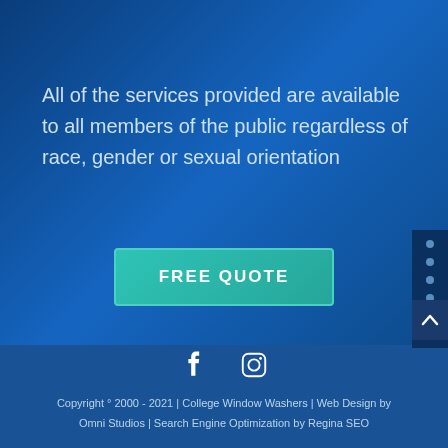All of the services provided are available to all members of the public regardless of race, gender or sexual orientation
FREE QUOTE
[Figure (other): Social media icons: Facebook and Instagram]
Copyright ° 2000 - 2021 | College Window Washers | Web Design by Omni Studios | Search Engine Optimization by Regina SEO